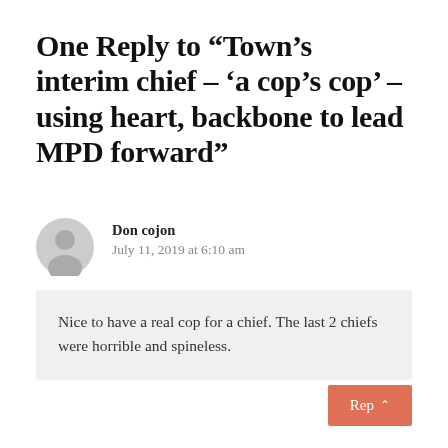One Reply to “Town’s interim chief – ‘a cop’s cop’ – using heart, backbone to lead MPD forward”
Don cojon
July 11, 2019 at 6:10 am
Nice to have a real cop for a chief. The last 2 chiefs were horrible and spineless.